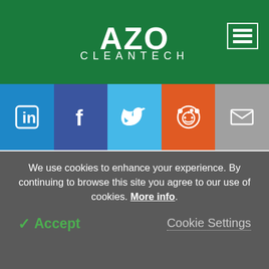AZO CLEANTECH
[Figure (infographic): Social media share buttons: LinkedIn (blue), Facebook (dark blue), Twitter (light blue), Reddit (orange), Email (gray)]
The Team
Become a Member
Search
Newsletters
Contact
Help/FAQs
Advertise
We use cookies to enhance your experience. By continuing to browse this site you agree to our use of cookies. More info.
✓ Accept   Cookie Settings